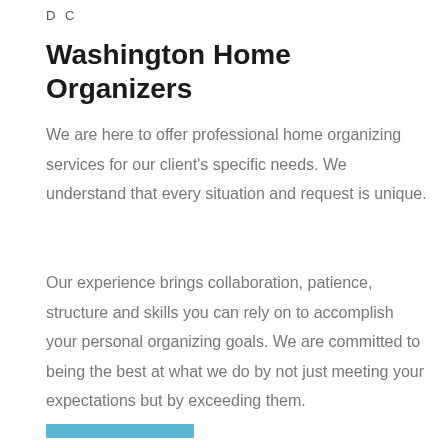D C
Washington Home Organizers
We are here to offer professional home organizing services for our client's specific needs. We understand that every situation and request is unique.
Our experience brings collaboration, patience, structure and skills you can rely on to accomplish your personal organizing goals. We are committed to being the best at what we do by not just meeting your expectations but by exceeding them.
[Figure (other): Teal/blue horizontal decorative bar at the bottom of the page]